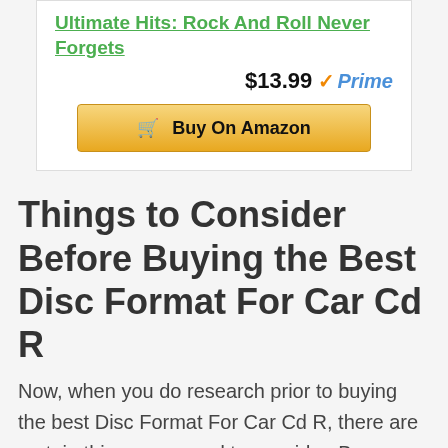Ultimate Hits: Rock And Roll Never Forgets
$13.99 ✓Prime
Buy On Amazon
Things to Consider Before Buying the Best Disc Format For Car Cd R
Now, when you do research prior to buying the best Disc Format For Car Cd R, there are certain things you need to consider. Because these